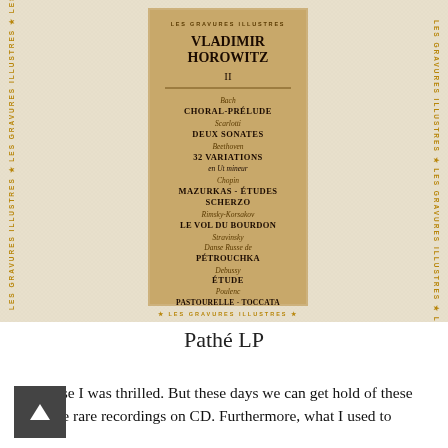[Figure (photo): Album cover of Vladimir Horowitz - Les Gravures Illustres LP (Pathé). Cream/beige linen textured background with a central label listing composers and works: Bach CHORAL-PRELUDE, Scarlatti DEUX SONATES, Beethoven 32 VARIATIONS en Ut mineur, Chopin MAZURKAS - ÉTUDES SCHERZO, Rimsky-Korsakov LE VOL DU BOURDON, Stravinsky Danse Russe de PÉTROUCHKA, Debussy ÉTUDE, Poulenc PASTOURELLE - TOCCATA. Text 'LES GRAVURES ILLUSTRES' appears vertically on the sides and at top and bottom.]
Pathé LP
Of course I was thrilled. But these days we can get hold of these one-time rare recordings on CD. Furthermore, what I used to